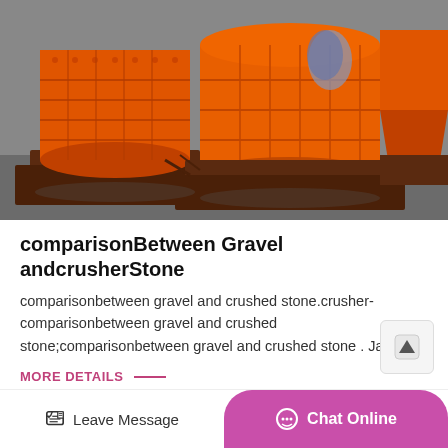[Figure (photo): Large orange industrial crushing/grinding mill machines on dark metal bases, photographed outdoors]
comparisonBetween Gravel andcrusherStone
comparisonbetween gravel and crushed stone.crusher-comparisonbetween gravel and crushed stone;comparisonbetween gravel and crushed stone . Ja...
MORE DETAILS —